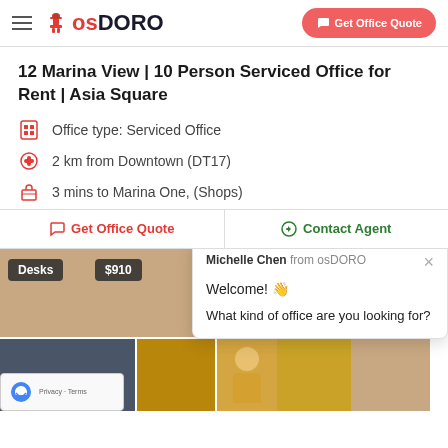osDORO — Get Office Quote
12 Marina View | 10 Person Serviced Office for Rent | Asia Square
Office type: Serviced Office
2 km from Downtown (DT17)
3 mins to Marina One, (Shops)
Get Office Quote | Contact Agent
[Figure (screenshot): Office space thumbnail images showing desks badge and $910 price badge, with interior photos]
Michelle Chen from osDORO
Welcome! 👋
What kind of office are you looking for?